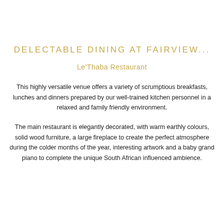DELECTABLE DINING AT FAIRVIEW...
Le'Thaba Restaurant
This highly versatile venue offers a variety of scrumptious breakfasts, lunches and dinners prepared by our well-trained kitchen personnel in a relaxed and family friendly environment.
The main restaurant is elegantly decorated, with warm earthly colours, solid wood furniture, a large fireplace to create the perfect atmosphere during the colder months of the year, interesting artwork and a baby grand piano to complete the unique South African influenced ambience.